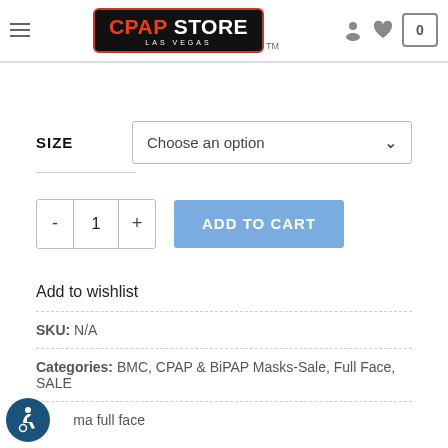CPAP STORE LAS VEGAS
SIZE  Choose an option
- 1 +  ADD TO CART
Add to wishlist
SKU: N/A
Categories: BMC, CPAP & BiPAP Masks-Sale, Full Face, SALE
ma full face